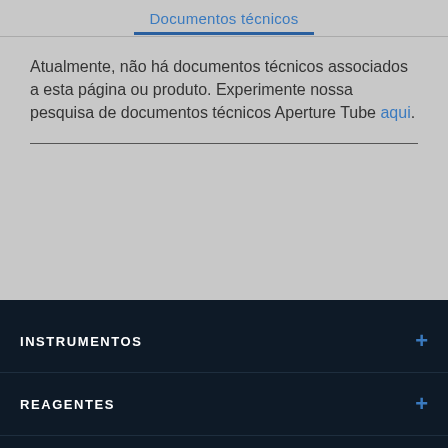Documentos técnicos
Atualmente, não há documentos técnicos associados a esta página ou produto. Experimente nossa pesquisa de documentos técnicos Aperture Tube aqui.
INSTRUMENTOS
REAGENTES